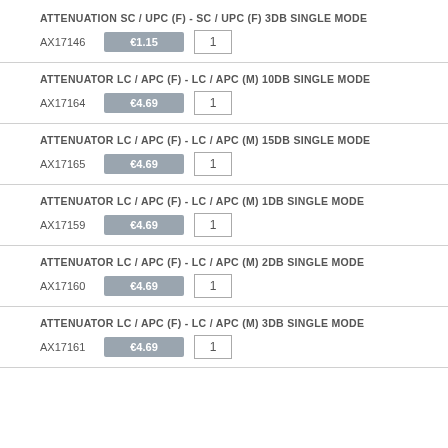ATTENUATION SC / UPC (F) - SC / UPC (F) 3DB SINGLE MODE
AX17146  €1.15  1
ATTENUATOR LC / APC (F) - LC / APC (M) 10DB SINGLE MODE
AX17164  €4.69  1
ATTENUATOR LC / APC (F) - LC / APC (M) 15DB SINGLE MODE
AX17165  €4.69  1
ATTENUATOR LC / APC (F) - LC / APC (M) 1DB SINGLE MODE
AX17159  €4.69  1
ATTENUATOR LC / APC (F) - LC / APC (M) 2DB SINGLE MODE
AX17160  €4.69  1
ATTENUATOR LC / APC (F) - LC / APC (M) 3DB SINGLE MODE
AX17161  €4.69  1